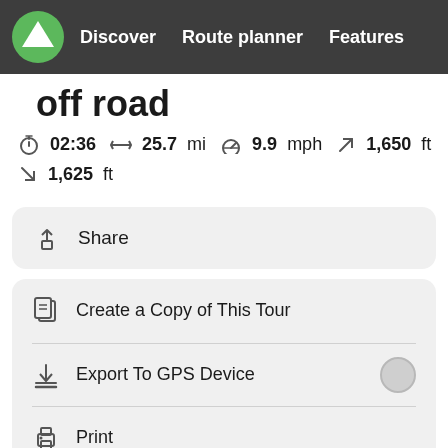Discover  Route planner  Features
off road
02:36  25.7 mi  9.9 mph  1,650 ft
1,625 ft
Share
Create a Copy of This Tour
Export To GPS Device
Print